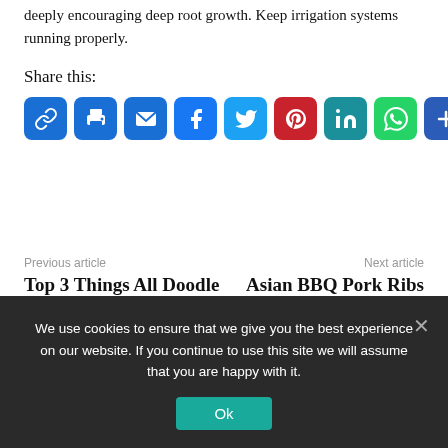deeply encouraging deep root growth. Keep irrigation systems running properly.
Share this:
[Figure (infographic): Row of 9 social sharing icon buttons: Link (blue), Print (blue), Email (blue), Facebook (blue), Twitter (blue), Pinterest (red), LinkedIn (dark cyan), WhatsApp (green), More/Plus (dark blue)]
Previous article
Top 3 Things All Doodle
Next article
Asian BBQ Pork Ribs
We use cookies to ensure that we give you the best experience on our website. If you continue to use this site we will assume that you are happy with it.